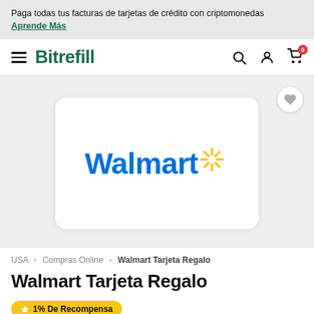Paga todas tus facturas de tarjetas de crédito con criptomonedas Aprende Más
Bitrefill — Navigation bar with search, user, and cart icons
[Figure (logo): Walmart gift card product image showing the Walmart logo (blue text 'Walmart' with a yellow sunburst spark icon) on a white rounded card]
USA > Compras Online > Walmart Tarjeta Regalo
Walmart Tarjeta Regalo
1% De Recompensa